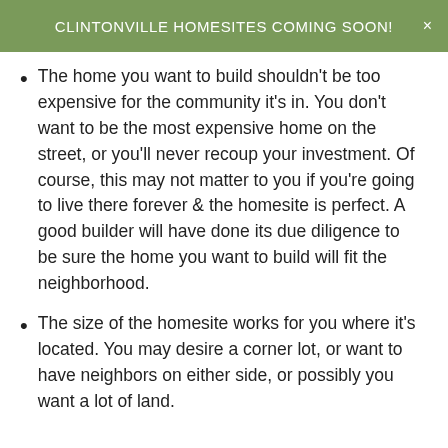CLINTONVILLE HOMESITES COMING SOON!
The home you want to build shouldn't be too expensive for the community it's in. You don't want to be the most expensive home on the street, or you'll never recoup your investment. Of course, this may not matter to you if you're going to live there forever & the homesite is perfect. A good builder will have done its due diligence to be sure the home you want to build will fit the neighborhood.
The size of the homesite works for you where it's located. You may desire a corner lot, or want to have neighbors on either side, or possibly you want a lot of land.